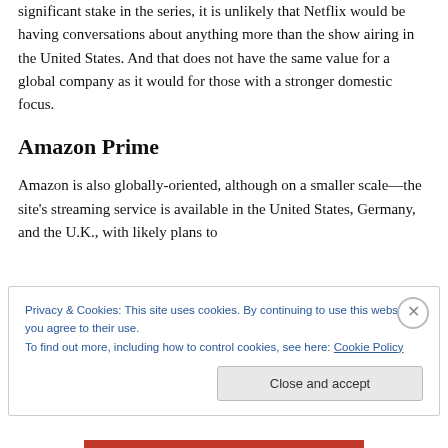significant stake in the series, it is unlikely that Netflix would be having conversations about anything more than the show airing in the United States. And that does not have the same value for a global company as it would for those with a stronger domestic focus.
Amazon Prime
Amazon is also globally-oriented, although on a smaller scale—the site's streaming service is available in the United States, Germany, and the U.K., with likely plans to
Privacy & Cookies: This site uses cookies. By continuing to use this website, you agree to their use.
To find out more, including how to control cookies, see here: Cookie Policy